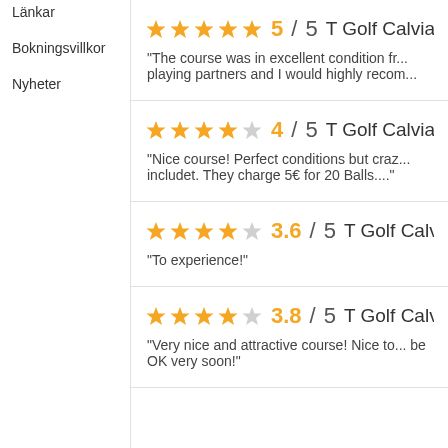Länkar
Bokningsvillkor
Nyheter
5 / 5  T Golf Calvia (was Por...  "The course was in excellent condition fr... playing partners and I would highly recom..."
4 / 5  T Golf Calvia (was Por...  "Nice course! Perfect conditions but craz... includet. They charge 5€ for 20 Balls...."
3.6 / 5  T Golf Calvia (was P...  "To experience!"
3.8 / 5  T Golf Calvia (was P...  "Very nice and attractive course! Nice to... be OK very soon!"